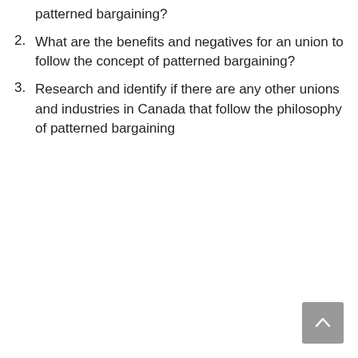patterned bargaining?
What are the benefits and negatives for an union to follow the concept of patterned bargaining?
Research and identify if there are any other unions and industries in Canada that follow the philosophy of patterned bargaining